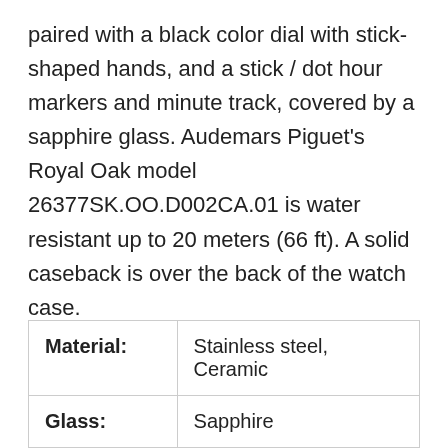paired with a black color dial with stick-shaped hands, and a stick / dot hour markers and minute track, covered by a sapphire glass. Audemars Piguet's Royal Oak model 26377SK.OO.D002CA.01 is water resistant up to 20 meters (66 ft). A solid caseback is over the back of the watch case.
| Material: | Glass: |
| --- | --- |
| Material: | Stainless steel, Ceramic |
| Glass: | Sapphire |